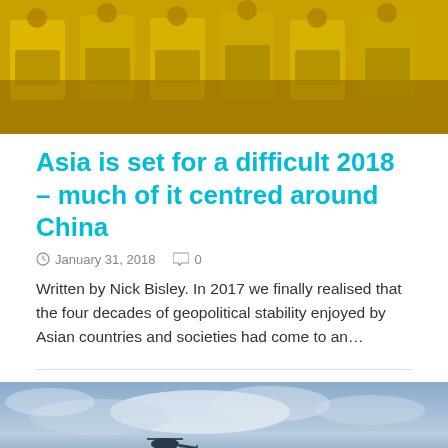[Figure (photo): People wearing yellow uniforms holding yellow flags and boxes, repeated pattern]
Asia is set for a difficult 2018 – much of it centred around China
January 31, 2018   0
Written by Nick Bisley. In 2017 we finally realised that the four decades of geopolitical stability enjoyed by Asian countries and societies had come to an…
[Figure (photo): Helicopter flying over ocean with dramatic cloudy sky and island in background]